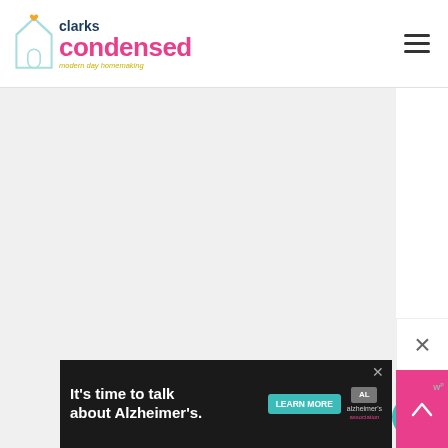[Figure (logo): Clarks Condensed blog logo with house/heart icon, 'clarks condensed' text in navy and pink, tagline 'modern day homemaking' in yellow-green]
[Figure (screenshot): Main content image area, light gray placeholder, takes up most of the page]
[Figure (infographic): WHAT'S NEXT panel with circular thumbnail and text 'DIY Christmas Nativity...']
Ma...
[Figure (screenshot): Ad banner: It's time to talk about Alzheimer's. LEARN MORE. Alzheimer's association logo with close button.]